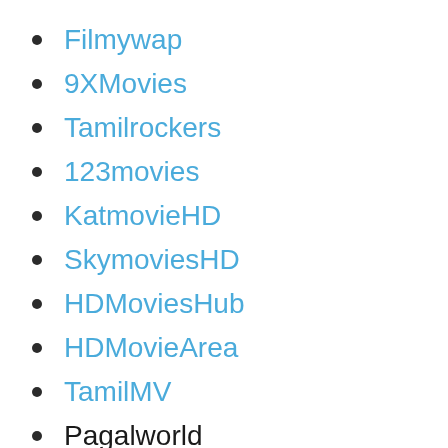Filmywap
9XMovies
Tamilrockers
123movies
KatmovieHD
SkymoviesHD
HDMoviesHub
HDMovieArea
TamilMV
Pagalworld